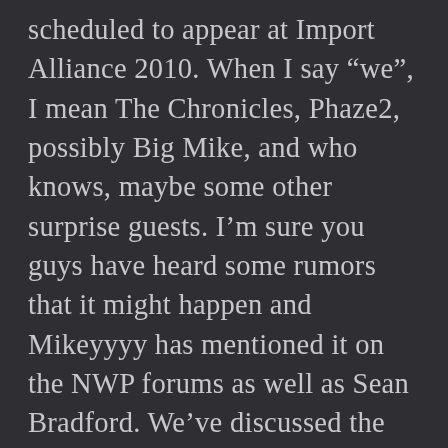scheduled to appear at Import Alliance 2010. When I say “we”, I mean The Chronicles, Phaze2, possibly Big Mike, and who knows, maybe some other surprise guests. I’m sure you guys have heard some rumors that it might happen and Mikeyyyy has mentioned it on the NWP forums as well as Sean Bradford. We’ve discussed the details and I’m actually pretty excited to see what the east/midwest has to offer. If we bring any Phaze2 cars out is still up to debate. We’re aren’t exactly filthy rich and can trailer each car out there but there’s a chance we can